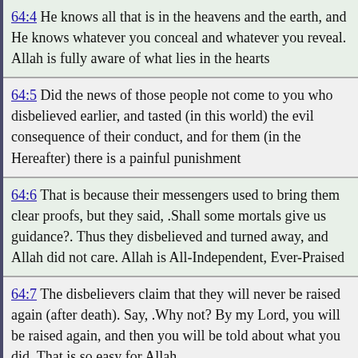64:4  He knows all that is in the heavens and the earth, and He knows whatever you conceal and whatever you reveal. Allah is fully aware of what lies in the hearts
64:5  Did the news of those people not come to you who disbelieved earlier, and tasted (in this world) the evil consequence of their conduct, and for them (in the Hereafter) there is a painful punishment
64:6  That is because their messengers used to bring them clear proofs, but they said, .Shall some mortals give us guidance?. Thus they disbelieved and turned away, and Allah did not care. Allah is All-Independent, Ever-Praised
64:7  The disbelievers claim that they will never be raised again (after death). Say, .Why not? By my Lord, you will be raised again, and then you will be told about what you did. That is so easy for Allah
64:8  So, believe in Allah and His Messenger, and in the light We have sent down. And Allah is fully aware of what you do
64:9  (Be mindful of) the day when He will gather you for the Day of Gathering. That will be the Day of loss and gain. Whoever believes in Allah, and does righteously, He will write off his evil deeds, and will admit him to gardens beneath which rivers flow, where they will live forever. That is the great